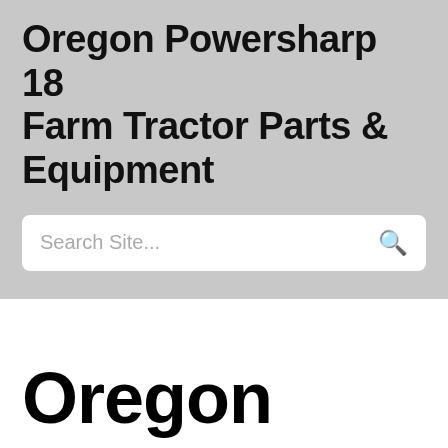Oregon Powersharp 18 Farm Tractor Parts & Equipment
Oregon Powersharp